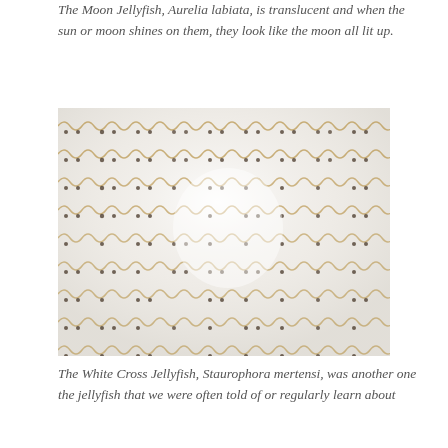The Moon Jellyfish, Aurelia labiata, is translucent and when the sun or moon shines on them, they look like the moon all lit up.
[Figure (photo): Close-up photograph of a White Cross Jellyfish (Staurophora mertensi) showing its translucent white body with a repeating wavy pattern of golden-brown zigzag lines and dark brown small marks across its surface, with a reflective sheen.]
The White Cross Jellyfish, Staurophora mertensi, was another one the jellyfish that we were often told of or regularly learn about